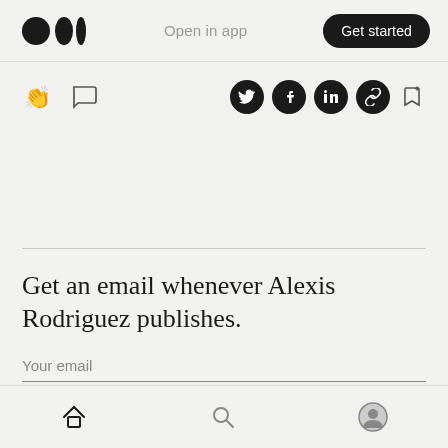Open in app  Get started
[Figure (screenshot): Medium logo and action bar with clap, comment icons on left; Twitter, Facebook, LinkedIn, link share icons and bookmark icon on right]
Get an email whenever Alexis Rodriguez publishes.
Your email
Subscribe
Home  Search  Profile